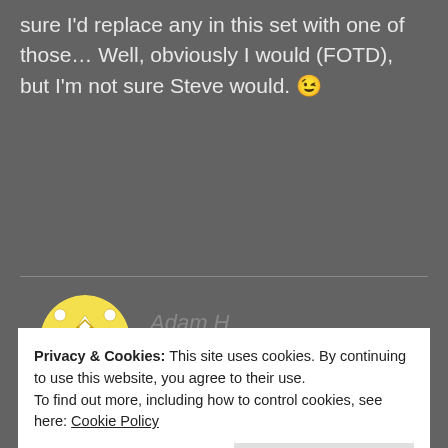sure I'd replace any in this set with one of those… Well, obviously I would (FOTD), but I'm not sure Steve would. 😉
REPLY
[Figure (illustration): Round avatar with yellow and white geometric/floral pattern on dark background]
Adam H
22. JUNE 2013 AT 07:02
A farewell tour, eh? 😀 😉
Privacy & Cookies: This site uses cookies. By continuing to use this website, you agree to their use.
To find out more, including how to control cookies, see here: Cookie Policy
Close and accept
tour 2016!